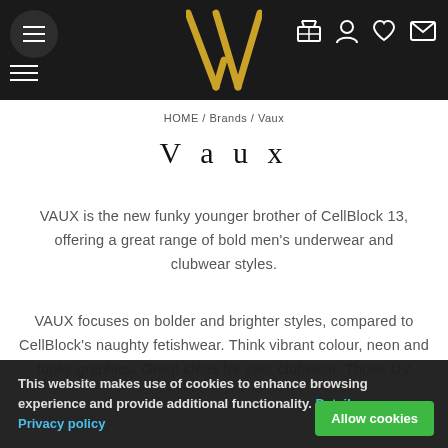Navigation header with logo VA and icons
HOME / Brands / Vaux
Vaux
VAUX is the new funky younger brother of CellBlock 13, offering a great range of bold men's underwear and clubwear styles.
VAUX focuses on bolder and brighter styles, compared to CellBlock's naughty fetishwear. Think vibrant colour, neon and funky graphics. Great ideas for your clubwear. Those UV
This website makes use of cookies to enhance browsing experience and provide additional functionality. Details Privacy policy